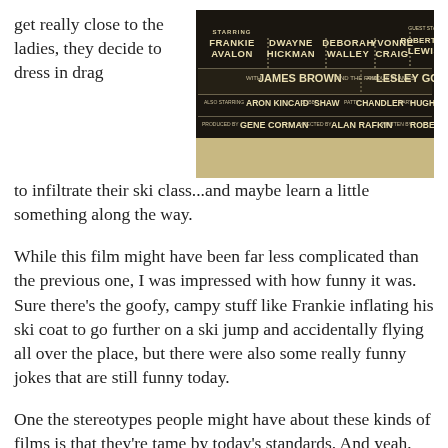[Figure (photo): Movie poster for a 1960s ski comedy film featuring cast names including Frankie Avalon, Dwayne Hickman, Deborah Walley, Yvonne Craig, Robert Q. Lewis, James Brown and the Famous Flames, Lesley Gore, Aron Kincaid, Bobbi Shaw, Patti Chandler, Mary Hughes. Produced by Gene Corman, directed by Alan Rafkin, written by Robert Kaufman.]
get really close to the ladies, they decide to dress in drag to infiltrate their ski class...and maybe learn a little something along the way.
While this film might have been far less complicated than the previous one, I was impressed with how funny it was. Sure there's the goofy, campy stuff like Frankie inflating his ski coat to go further on a ski jump and accidentally flying all over the place, but there were also some really funny jokes that are still funny today.
One the stereotypes people might have about these kinds of films is that they're tame by today's standards. And yeah, that's true from an on-the-nose perspective. You're not going to see any topless women or kids randomly hooking